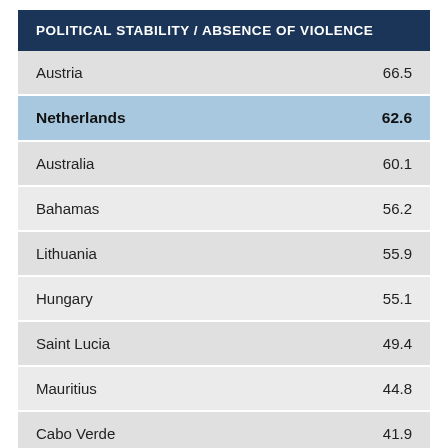| POLITICAL STABILITY / ABSENCE OF VIOLENCE |  |
| --- | --- |
| Austria | 66.5 |
| Netherlands | 62.6 |
| Australia | 60.1 |
| Bahamas | 56.2 |
| Lithuania | 55.9 |
| Hungary | 55.1 |
| Saint Lucia | 49.4 |
| Mauritius | 44.8 |
| Cabo Verde | 41.9 |